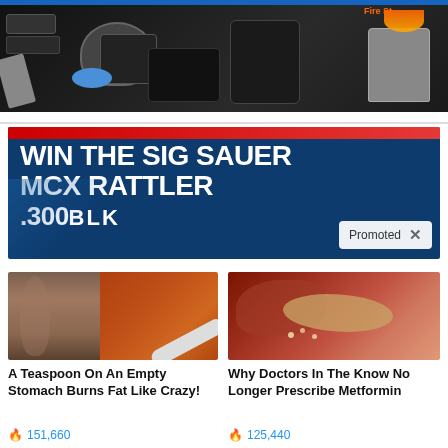[Figure (photo): Advertisement banner showing camping/outdoor gear including cookware, a smartphone, fire starter, and multi-tool on dark background]
[Figure (photo): Advertisement banner with dark blue background and red top bar showing text 'WIN THE SIG SAUER MCX RATTLER .300BLK' with a Promoted badge and X close button]
[Figure (photo): Article thumbnail showing a woman's torso and a spoon with spices/powder]
A Teaspoon On An Empty Stomach Burns Fat Like Crazy!
🔥 151,660
[Figure (photo): Article thumbnail showing internal organs (pancreas/digestive system)]
Why Doctors In The Know No Longer Prescribe Metformin
🔥 125,440